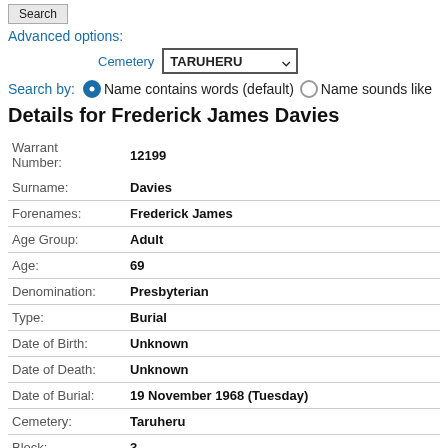Search
Advanced options:
Cemetery  TARUHERU
Search by:  Name contains words (default)  Name sounds like
Details for Frederick James Davies
| Field | Value |
| --- | --- |
| Warrant Number: | 12199 |
| Surname: | Davies |
| Forenames: | Frederick James |
| Age Group: | Adult |
| Age: | 69 |
| Denomination: | Presbyterian |
| Type: | Burial |
| Date of Birth: | Unknown |
| Date of Death: | Unknown |
| Date of Burial: | 19 November 1968 (Tuesday) |
| Cemetery: | Taruheru |
| Block: | 3 |
| Plot #: | 84 |